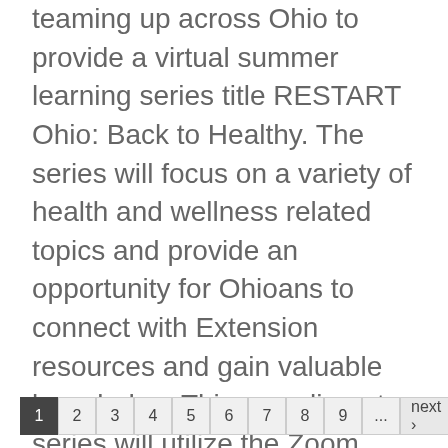teaming up across Ohio to provide a virtual summer learning series title RESTART Ohio: Back to Healthy. The series will focus on a variety of health and wellness related topics and provide an opportunity for Ohioans to connect with Extension resources and gain valuable knowledge. This complimentary series will utilize the Zoom webinar platform. Pre-registration is required and participants have the optionto select one or more sessions in the series.
1 2 3 4 5 6 7 8 9 ... next › last »